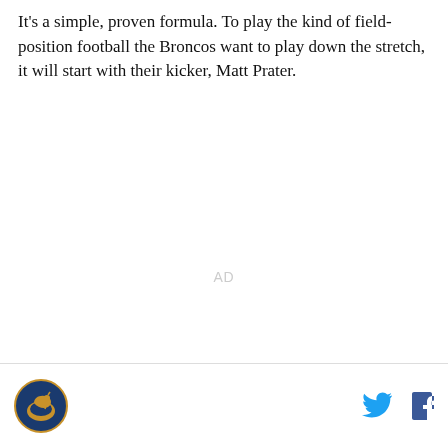It's a simple, proven formula. To play the kind of field-position football the Broncos want to play down the stretch, it will start with their kicker, Matt Prater.
[Figure (other): AD placeholder text in light gray]
Site logo (Broncos Nation News) on left; Twitter and Facebook icons on right